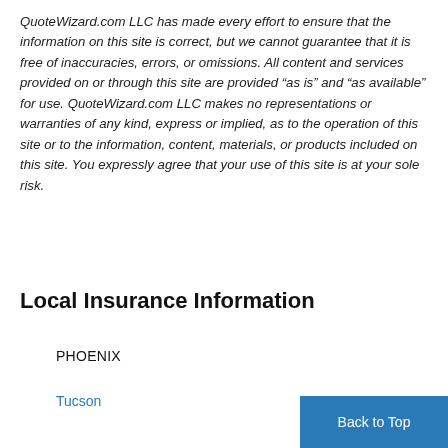QuoteWizard.com LLC has made every effort to ensure that the information on this site is correct, but we cannot guarantee that it is free of inaccuracies, errors, or omissions. All content and services provided on or through this site are provided "as is" and "as available" for use. QuoteWizard.com LLC makes no representations or warranties of any kind, express or implied, as to the operation of this site or to the information, content, materials, or products included on this site. You expressly agree that your use of this site is at your sole risk.
Local Insurance Information
PHOENIX
Tucson